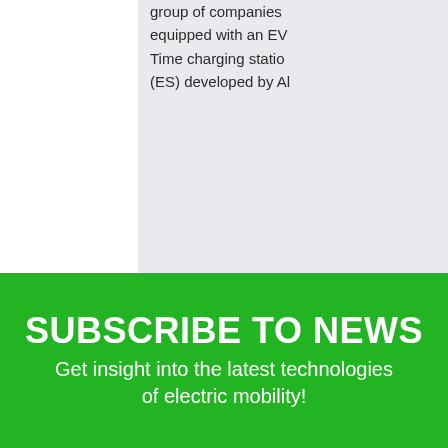group of companies equipped with an EV Time charging station (ES) developed by Al
SUBSCRIBE TO NEWS
Get insight into the latest technologies of electric mobility!